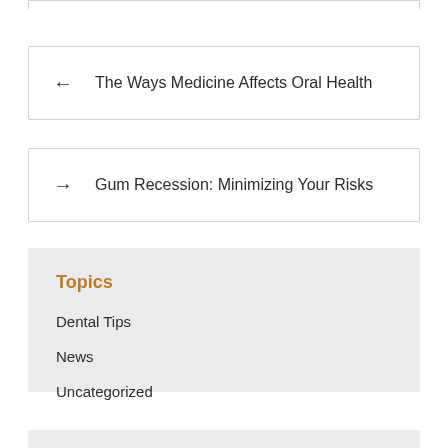← The Ways Medicine Affects Oral Health
→ Gum Recession: Minimizing Your Risks
Topics
Dental Tips
News
Uncategorized